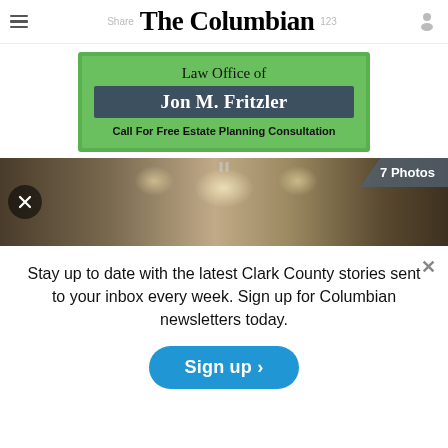The Columbian
[Figure (illustration): Advertisement for Law Office of Jon M. Fritzler — green background with dark banner reading 'Jon M. Fritzler', text 'Law Office of' above and 'Call For Free Estate Planning Consultation' below]
[Figure (photo): Interior panoramic photo of a gallery or office space with paintings on walls and a circular ceiling. Shows '7 Photos' badge and navigation arrow.]
Stay up to date with the latest Clark County stories sent to your inbox every week. Sign up for Columbian newsletters today.
[Figure (other): Blue rounded 'Sign up >' button]